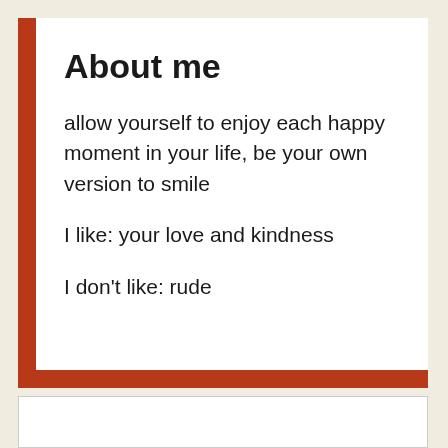About me
allow yourself to enjoy each happy moment in your life, be your own version to smile
I like: your love and kindness
I don't like: rude